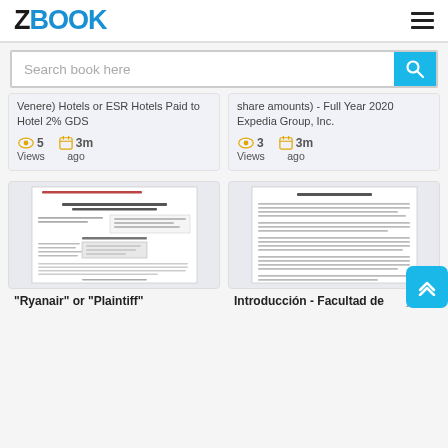ZBOOK
Search book here
Venere) Hotels or ESR Hotels Paid to Hotel 2% GDS
5 Views  3m ago
share amounts) - Full Year 2020 Expedia Group, Inc.
3 Views  3m ago
[Figure (screenshot): Document preview thumbnail showing a legal complaint filed in US District Court]
"Ryanair" or "Plaintiff"
[Figure (screenshot): Document preview thumbnail showing a Spanish-language academic document with introduction text]
Introducción - Facultad de